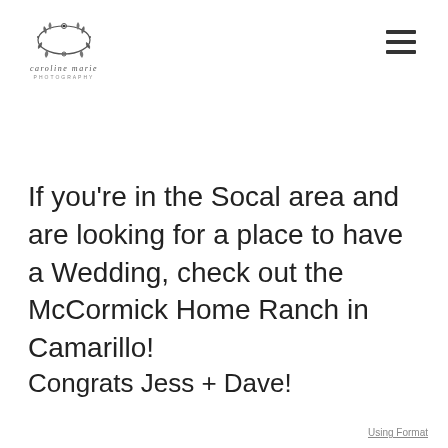[Figure (logo): Floral wreath logo with cursive text 'caroline marie photography' underneath]
If you're in the Socal area and are looking for a place to have a Wedding, check out the McCormick Home Ranch in Camarillo!
Congrats Jess + Dave!
Using Format